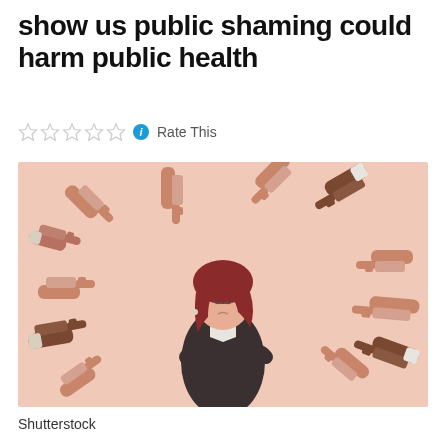show us public shaming could harm public health
Rate This
[Figure (illustration): Illustration of a woman in a dark jacket standing with arms crossed and head bowed, looking distressed, surrounded by many hands from different directions pointing at her. The background is a warm peachy-pink color suggesting accusation and public shaming.]
Shutterstock